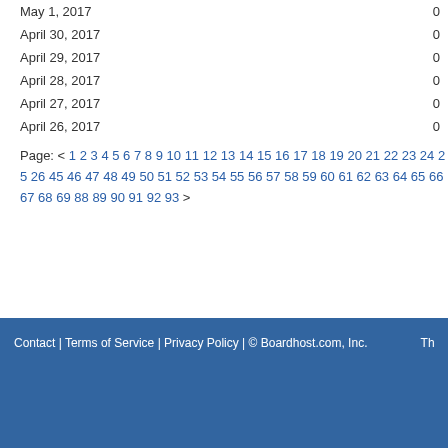| Date | Count |
| --- | --- |
| May 1, 2017 | 0 |
| April 30, 2017 | 0 |
| April 29, 2017 | 0 |
| April 28, 2017 | 0 |
| April 27, 2017 | 0 |
| April 26, 2017 | 0 |
Page: < 1 2 3 4 5 6 7 8 9 10 11 12 13 14 15 16 17 18 19 20 21 22 23 24 25 26 ... 45 46 47 48 49 50 51 52 53 54 55 56 57 58 59 60 61 62 63 64 65 66 67 68 69 7... 88 89 90 91 92 93 >
Contact | Terms of Service | Privacy Policy | © Boardhost.com, Inc.   Th...